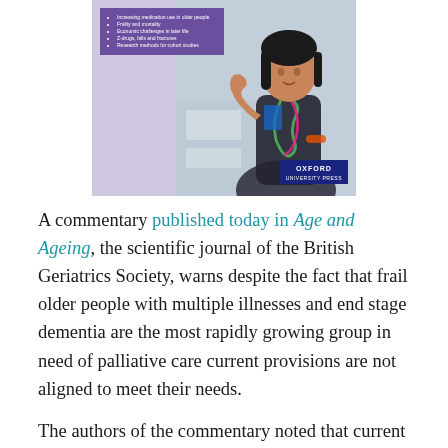[Figure (photo): Book cover of an Oxford University Press publication showing a female doctor with a stethoscope, and a purple box with bullet points listing topics including increasing medication use in older people, frailty and mortality, economic challenges, Z-drugs, falls and fractures, and research methods for cohort studies.]
A commentary published today in Age and Ageing, the scientific journal of the British Geriatrics Society, warns despite the fact that frail older people with multiple illnesses and end stage dementia are the most rapidly growing group in need of palliative care current provisions are not aligned to meet their needs.
The authors of the commentary noted that current projections indicate that between 25% and 47% more people may need palliative care by 2040 in England and